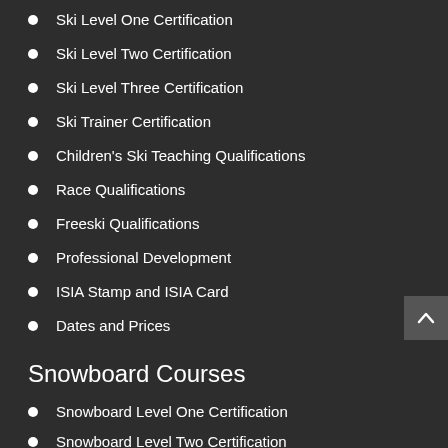Ski Level One Certification
Ski Level Two Certification
Ski Level Three Certification
Ski Trainer Certification
Children's Ski Teaching Qualifications
Race Qualifications
Freeski Qualifications
Professional Development
ISIA Stamp and ISIA Card
Dates and Prices
Snowboard Courses
Snowboard Level One Certification
Snowboard Level Two Certification